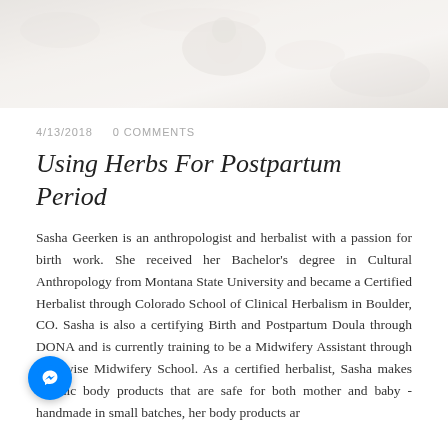[Figure (photo): A faded, light-toned hero banner photo showing a person lying down, soft floral/textile background, very pale and washed-out tones]
4/13/2018    0 COMMENTS
Using Herbs For Postpartum Period
Sasha Geerken is an anthropologist and herbalist with a passion for birth work. She received her Bachelor's degree in Cultural Anthropology from Montana State University and became a Certified Herbalist through Colorado School of Clinical Herbalism in Boulder, CO. Sasha is also a certifying Birth and Postpartum Doula through DONA and is currently training to be a Midwifery Assistant through Birthwise Midwifery School. As a certified herbalist, Sasha makes organic body products that are safe for both mother and baby - handmade in small batches, her body products are